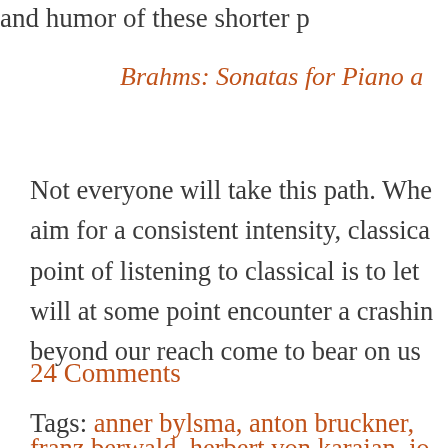and humor of these shorter p
Brahms: Sonatas for Piano a
Not everyone will take this path. Whe aim for a consistent intensity, classica point of listening to classical is to let will at some point encounter a crashin beyond our reach come to bear on us
24 Comments
Tags: anner bylsma, anton bruckner,
franz berwald, herbert von karajan, jo